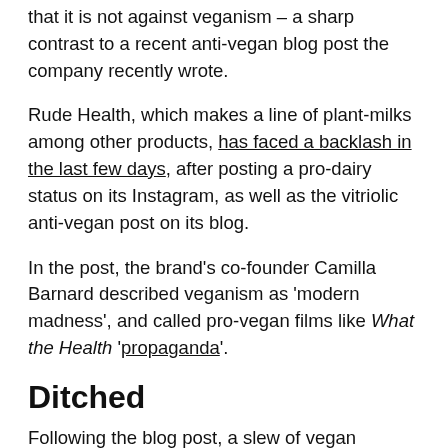that it is not against veganism – a sharp contrast to a recent anti-vegan blog post the company recently wrote.
Rude Health, which makes a line of plant-milks among other products, has faced a backlash in the last few days, after posting a pro-dairy status on its Instagram, as well as the vitriolic anti-vegan post on its blog.
In the post, the brand's co-founder Camilla Barnard described veganism as 'modern madness', and called pro-vegan films like What the Health 'propaganda'.
Ditched
Following the blog post, a slew of vegan retailers